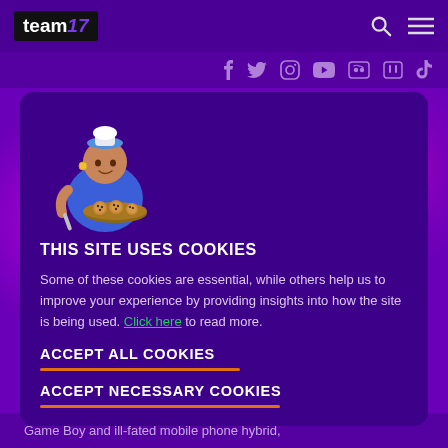team17 [logo with navigation icons]
Social media icons: Facebook, Twitter, Instagram, YouTube, Discord, Twitch, TikTok
[Figure (illustration): 3D rendered character wearing a blue outfit and chef hat, holding a tray of cookies]
THIS SITE USES COOKIES
Some of these cookies are essential, while others help us to improve your experience by providing insights into how the site is being used. Click here to read more.
ACCEPT ALL COOKIES
ACCEPT NECESSARY COOKIES
Game Boy and ill-fated mobile phone hybrid,